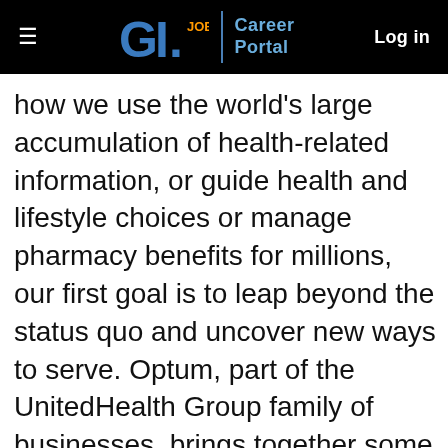GI.JOBS | Career Portal  Log in
how we use the world's large accumulation of health-related information, or guide health and lifestyle choices or manage pharmacy benefits for millions, our first goal is to leap beyond the status quo and uncover new ways to serve. Optum, part of the UnitedHealth Group family of businesses, brings together some of the greatest minds and most advanced ideas on where health care has to go in order to reach its fullest potential. For you,